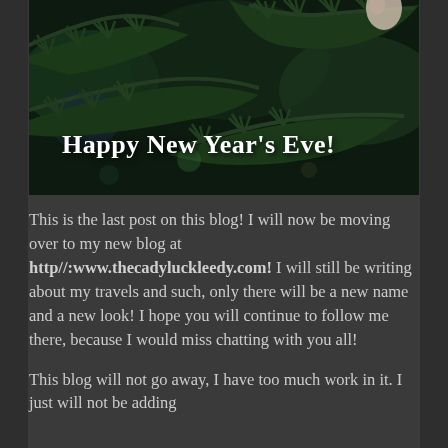[Figure (photo): Close-up photo of dark green pine/fir tree branches with bokeh background, overlaid with white text reading 'Happy New Year's Eve!']
This is the last post on this blog! I will now be moving over to my new blog at http//:www.thecadyluckleedy.com! I will still be writing about my travels and such, only there will be a new name and a new look! I hope you will continue to follow me there, because I would miss chatting with you all!
This blog will not go away, I have too much work in it. I just will not be adding